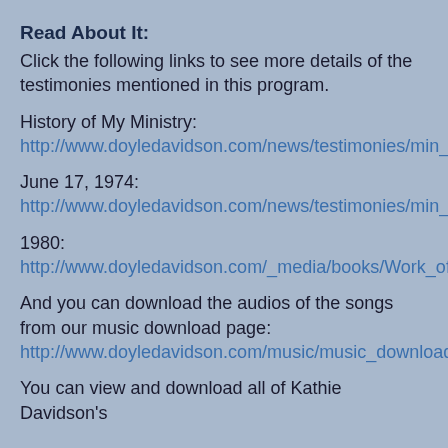Read About It:
Click the following links to see more details of the testimonies mentioned in this program.
History of My Ministry:
http://www.doyledavidson.com/news/testimonies/min_history.shtml
June 17, 1974:
http://www.doyledavidson.com/news/testimonies/min_promise.shtml
1980:
http://www.doyledavidson.com/_media/books/Work_of_Righteousness_1981.pdf
And you can download the audios of the songs from our music download page:
http://www.doyledavidson.com/music/music_download.shtml
You can view and download all of Kathie Davidson's